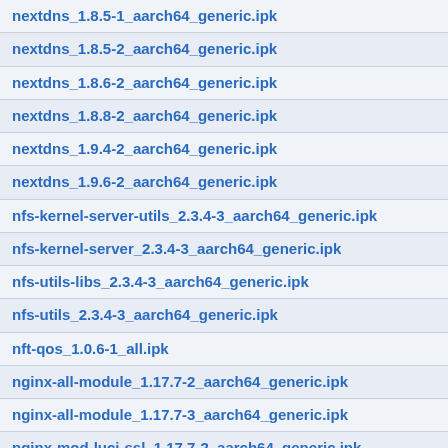nextdns_1.8.5-1_aarch64_generic.ipk
nextdns_1.8.5-2_aarch64_generic.ipk
nextdns_1.8.6-2_aarch64_generic.ipk
nextdns_1.8.8-2_aarch64_generic.ipk
nextdns_1.9.4-2_aarch64_generic.ipk
nextdns_1.9.6-2_aarch64_generic.ipk
nfs-kernel-server-utils_2.3.4-3_aarch64_generic.ipk
nfs-kernel-server_2.3.4-3_aarch64_generic.ipk
nfs-utils-libs_2.3.4-3_aarch64_generic.ipk
nfs-utils_2.3.4-3_aarch64_generic.ipk
nft-qos_1.0.6-1_all.ipk
nginx-all-module_1.17.7-2_aarch64_generic.ipk
nginx-all-module_1.17.7-3_aarch64_generic.ipk
nginx-mod-luci-ssl_1.17.7-2_aarch64_generic.ipk
nginx-mod-luci-ssl_1.17.7-3_aarch64_generic.ipk
nginx-mod-luci_1.17.7-2_aarch64_generic.ipk
nginx-mod-luci_1.17.7-3_aarch64_generic.ipk
nginx-ssl_1.17.7-2_aarch64_generic.ipk
nginx-ssl_1.17.7-3_aarch64_generic.ipk
nginx_1.17.7-2_aarch64_generic.ipk
nginx_1.17.7-3_aarch64_generic.ipk